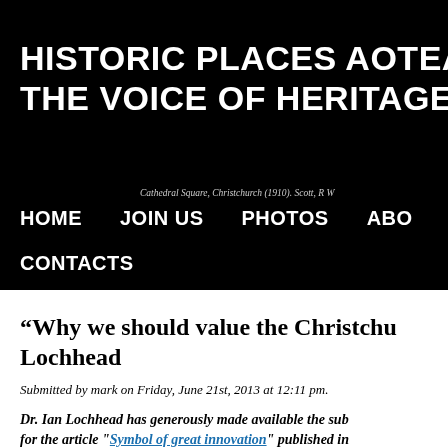HISTORIC PLACES AOTEAROA — THE VOICE OF HERITAGE FOR NE…
Cathedral Square, Christchurch (1910). Scott, R W
HOME   JOIN US   PHOTOS   ABOUT   CONTACTS
“Why we should value the Christchu… Lochhead
Submitted by mark on Friday, June 21st, 2013 at 12:11 pm.
Dr. Ian Lochhead has generously made available the sub… for the article "Symbol of great innovation" published in…